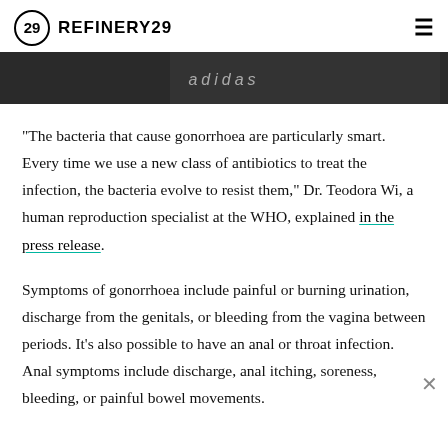REFINERY29
[Figure (photo): Dark banner advertisement showing adidas branding text on a dark background]
"The bacteria that cause gonorrhoea are particularly smart. Every time we use a new class of antibiotics to treat the infection, the bacteria evolve to resist them," Dr. Teodora Wi, a human reproduction specialist at the WHO, explained in the press release.
Symptoms of gonorrhoea include painful or burning urination, discharge from the genitals, or bleeding from the vagina between periods. It's also possible to have an anal or throat infection. Anal symptoms include discharge, anal itching, soreness, bleeding, or painful bowel movements.